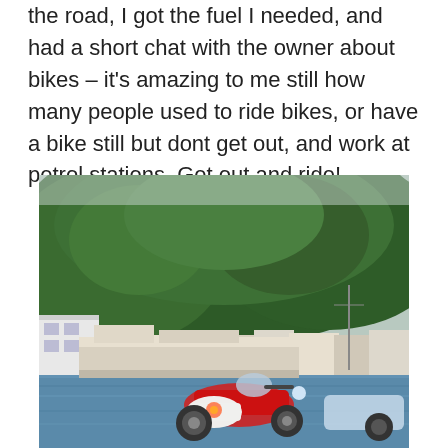the road, I got the fuel I needed, and had a short chat with the owner about bikes – it's amazing to me still how many people used to ride bikes, or have a bike still but dont get out, and work at petrol stations. Get out and ride!
[Figure (photo): A motorcycle parked at a harbor dock with boats moored nearby. Behind the harbor is a small coastal town with buildings, and a large green forested hillside/mountain in the background under a hazy sky.]